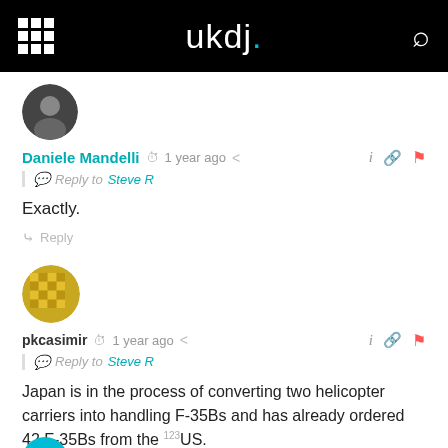ukdj.
Daniele Mandelli  1 year ago
Reply to Steve R
Exactly.
Reply
pkcasimir  1 year ago
Reply to Steve R
Japan is in the process of converting two helicopter carriers into handling F-35Bs and has already ordered 42 F-35Bs from the US.
Reply